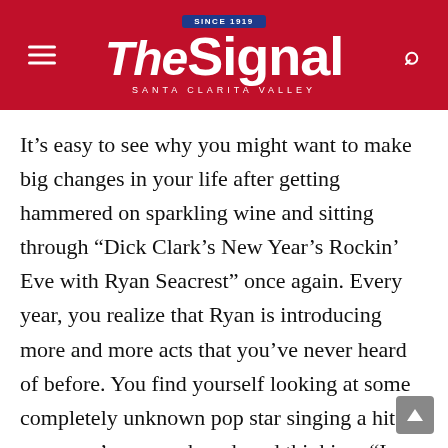The Signal — Santa Clarita Valley (since 1919)
It’s easy to see why you might want to make big changes in your life after getting hammered on sparkling wine and sitting through “Dick Clark’s New Year’s Rockin’ Eve with Ryan Seacrest” once again. Every year, you realize that Ryan is introducing more and more acts that you’ve never heard of before. You find yourself looking at some completely unknown pop star singing a hit song you’ve never heard, and thinking, “I have stuff in my freezer older than that kid.”